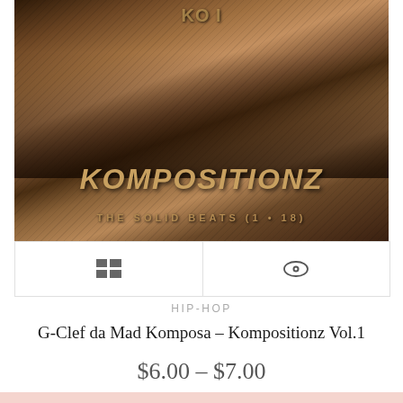[Figure (photo): Album artwork for Kompositionz Vol.1 by G-Clef da Mad Komposa, sepia-toned image with silhouetted figures and the text KOMPOSITIONZ and THE SOLID BEATS (1-18)]
HIP-HOP
G-Clef da Mad Komposa – Kompositionz Vol.1
$6.00 – $7.00